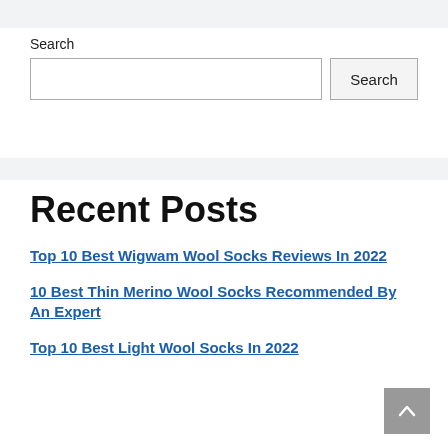Search
Search [input box] Search [button]
Recent Posts
Top 10 Best Wigwam Wool Socks Reviews In 2022
10 Best Thin Merino Wool Socks Recommended By An Expert
Top 10 Best Light Wool Socks In 2022